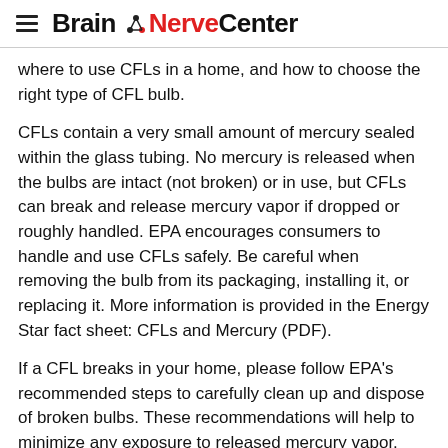Brain NerveCenter
where to use CFLs in a home, and how to choose the right type of CFL bulb.
CFLs contain a very small amount of mercury sealed within the glass tubing. No mercury is released when the bulbs are intact (not broken) or in use, but CFLs can break and release mercury vapor if dropped or roughly handled. EPA encourages consumers to handle and use CFLs safely. Be careful when removing the bulb from its packaging, installing it, or replacing it. More information is provided in the Energy Star fact sheet: CFLs and Mercury (PDF).
If a CFL breaks in your home, please follow EPA's recommended steps to carefully clean up and dispose of broken bulbs. These recommendations will help to minimize any exposure to released mercury vapor.